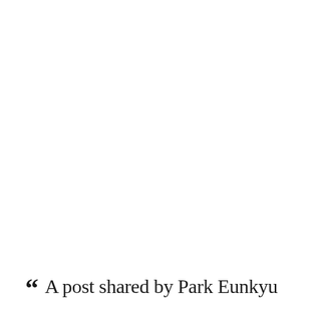“ A post shared by Park Eunkyu